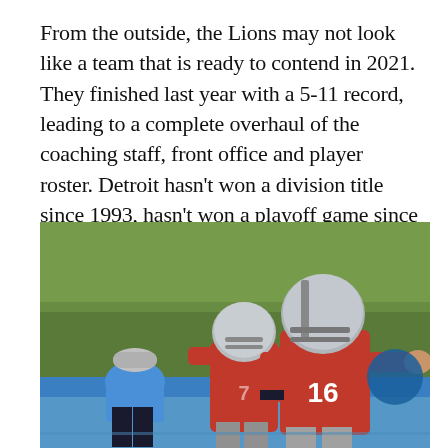From the outside, the Lions may not look like a team that is ready to contend in 2021. They finished last year with a 5-11 record, leading to a complete overhaul of the coaching staff, front office and player roster. Detroit hasn't won a division title since 1993, hasn't won a playoff game since 1991, and the last of its four NFL championships was in 1957.
[Figure (photo): Two Detroit Lions quarterbacks in red jerseys and silver helmets at practice, one wearing #16 pointing to the right, with a coach in a blue shirt crouching in the foreground.]